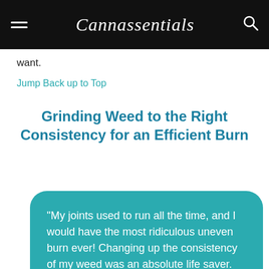Cannassentials
want.
Jump Back up to Top
Grinding Weed to the Right Consistency for an Efficient Burn
"My joints used to run all the time, and I would have the most ridiculous uneven burn ever! Changing up the consistency of my weed was an absolute life saver. My joints hit like a